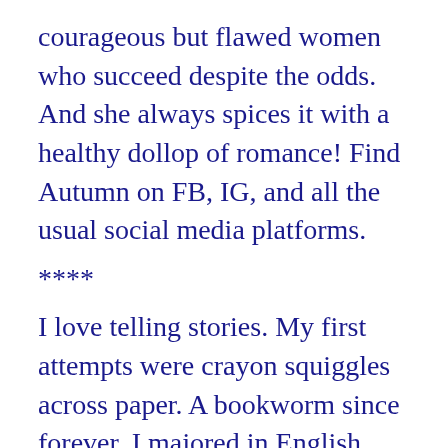courageous but flawed women who succeed despite the odds. And she always spices it with a healthy dollop of romance! Find Autumn on FB, IG, and all the usual social media platforms.
****
I love telling stories. My first attempts were crayon squiggles across paper. A bookworm since forever, I majored in English Literature. It took a while to finish my degree ( life got in the way ) but the moment my children were able to forage for their own food and the day after receiving my Masters I plunged head first into my true passion—writing novels. I haven't stopped writing since.